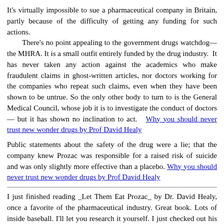It's virtually impossible to sue a pharmaceutical company in Britain, partly because of the difficulty of getting any funding for such actions.
    There's no point appealing to the government drugs watchdog—the MHRA. It is a small outfit entirely funded by the drug industry.  It has never taken any action against the academics who make fraudulent claims in ghost-written articles, nor doctors working for the companies who repeat such claims, even when they have been shown to be untrue. So the only other body to turn to is the General Medical Council, whose job it is to investigate the conduct of doctors — but it has shown no inclination to act.   Why you should never trust new wonder drugs by Prof David Healy
Public statements about the safety of the drug were a lie; that the company knew Prozac was responsible for a raised risk of suicide and was only slightly more effective than a placebo. Why you should never trust new wonder drugs by Prof David Healy
I just finished reading _Let Them Eat Prozac_ by Dr. David Healy, once a favorite of the pharmaceutical industry. Great book. Lots of inside baseball. I'll let you research it yourself. I just checked out his website, www.healyprozac.com , and found something under "Academic Stalking" that sounds especially familiar: